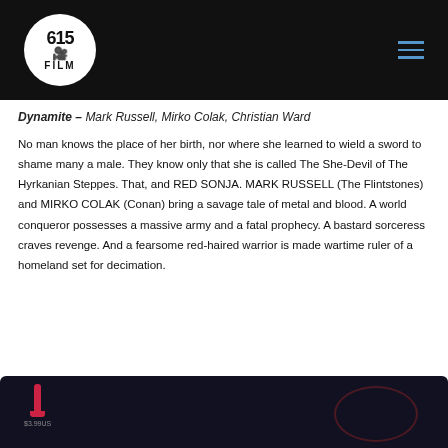[Figure (logo): 615 Film logo — white circle with '615', camera icon, and 'FILM' text on black header bar]
Dynamite – Mark Russell, Mirko Colak, Christian Ward
No man knows the place of her birth, nor where she learned to wield a sword to shame many a male. They know only that she is called The She-Devil of The Hyrkanian Steppes. That, and RED SONJA. MARK RUSSELL (The Flintstones) and MIRKO COLAK (Conan) bring a savage tale of metal and blood. A world conqueror possesses a massive army and a fatal prophecy. A bastard sorceress craves revenge. And a fearsome red-haired warrior is made wartime ruler of a homeland set for decimation.
[Figure (photo): Dark comic book cover image partially visible at the bottom of the page, featuring a red figure/icon and dark background tones]